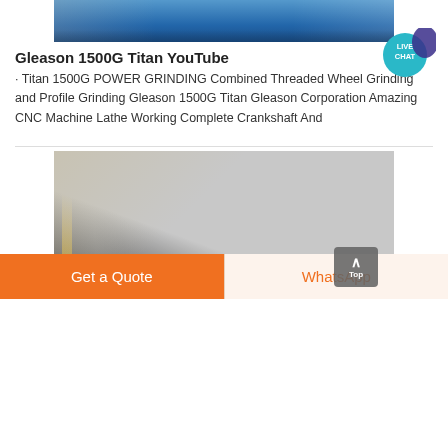[Figure (photo): Top portion of a blue industrial CNC grinding machine in a factory setting]
Gleason 1500G Titan YouTube
· Titan 1500G POWER GRINDING Combined Threaded Wheel Grinding and Profile Grinding Gleason 1500G Titan Gleason Corporation Amazing CNC Machine Lathe Working Complete Crankshaft And
[Figure (photo): Close-up photo of a large black industrial grinding machine head from below, with yellow cables and a metallic duct in a factory]
Get a Quote
WhatsApp